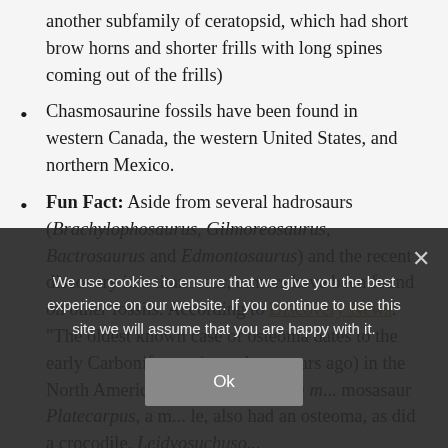another subfamily of ceratopsid, which had short brow horns and shorter frills with long spines coming out of the frills)
Chasmosaurine fossils have been found in western Canada, the western United States, and northern Mexico.
Fun Fact: Aside from several hadrosaurs (Brachylophosaurus, Gilmoreosaurus, Bactrosaurus and Edmontosaurus) and the recent discovery in a titanosaur, tumors have been found on other fossils. According to Discovery News: "The oldest known case of osteoma dates to the early Carboniferous (a ... years ago) in the North American fish Phanerosteon m... mosasaur Platecarpus, a m... le, also had an osteoma, as did a crocodile, Leidyosuchus...
We use cookies to ensure that we give you the best experience on our website. If you continue to use this site we will assume that you are happy with it.